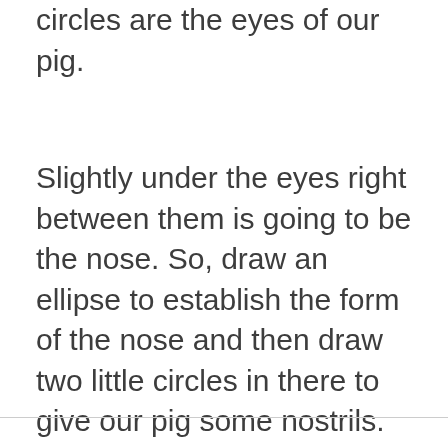circles are the eyes of our pig.
Slightly under the eyes right between them is going to be the nose. So, draw an ellipse to establish the form of the nose and then draw two little circles in there to give our pig some nostrils.